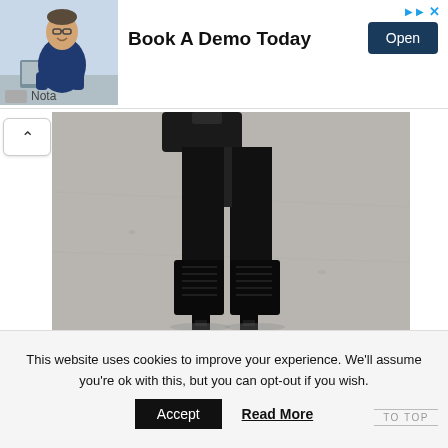[Figure (screenshot): Advertisement banner with photo of man in blue shirt at desk, headline 'Book A Demo Today', and Open button with Nota branding]
[Figure (photo): Lower body of woman walking in black tights and black high-heel lace-up boots on grey pavement surface, with black bag partially visible]
This website uses cookies to improve your experience. We'll assume you're ok with this, but you can opt-out if you wish.
Accept
Read More
TO TOP